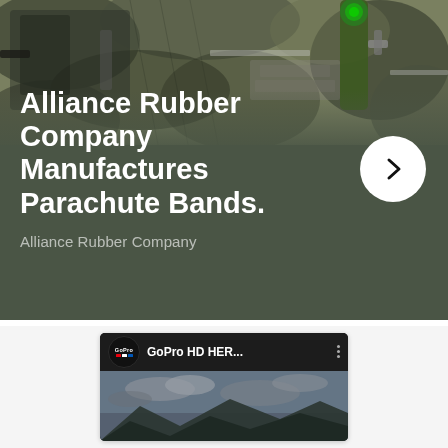[Figure (screenshot): A card with military gear background (camouflage vests, tactical flashlight) at top, dark olive/green overlay below with large white bold text reading 'Alliance Rubber Company Manufactures Parachute Bands.' and a white circular arrow button on the right. Subtitle reads 'Alliance Rubber Company'.]
Alliance Rubber Company Manufactures Parachute Bands.
Alliance Rubber Company
[Figure (screenshot): A YouTube-style video thumbnail showing GoPro logo circle, 'GoPro HD HER...' title text with a three-dot menu icon, and a landscape scene below with cloudy sky and mountains.]